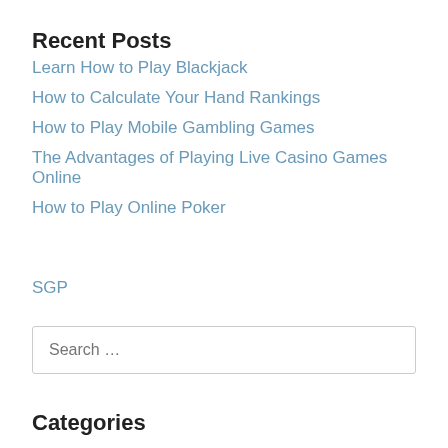Recent Posts
Learn How to Play Blackjack
How to Calculate Your Hand Rankings
How to Play Mobile Gambling Games
The Advantages of Playing Live Casino Games Online
How to Play Online Poker
SGP
Search ...
Categories